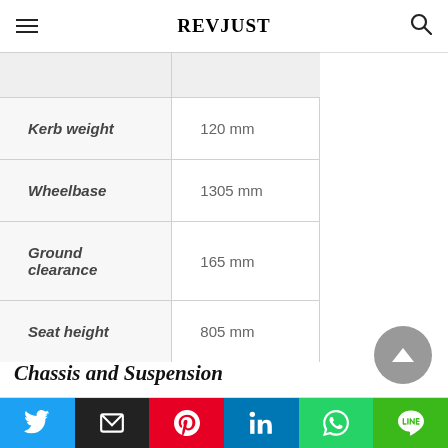REVJUST
| Kerb weight | 120 mm |
| Wheelbase | 1305 mm |
| Ground clearance | 165 mm |
| Seat height | 805 mm |
Chassis and Suspension